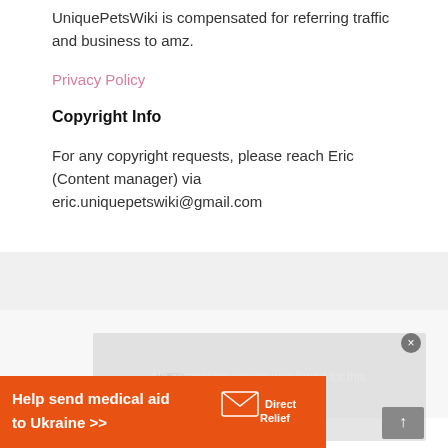UniquePetsWiki is compensated for referring traffic and business to amz.
Privacy Policy
Copyright Info
For any copyright requests, please reach Eric (Content manager) via eric.uniquepetswiki@gmail.com
[Figure (screenshot): Video player overlay showing 'No compatible source was found for this media.' with a close button and scroll button]
[Figure (infographic): Orange advertisement banner reading 'Help send medical aid to Ukraine >>' with Direct Relief logo]